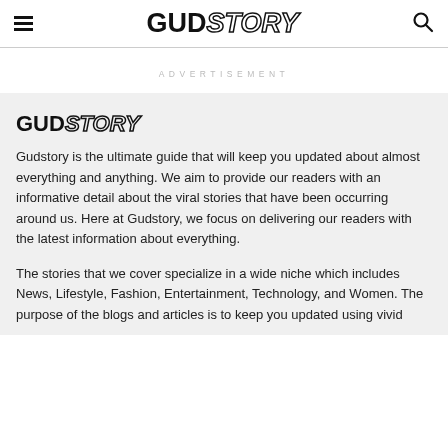≡  GUDSTORY  🔍
ADVERTISEMENT
[Figure (logo): GUDSTORY logo in bold italic outlined font]
Gudstory is the ultimate guide that will keep you updated about almost everything and anything. We aim to provide our readers with an informative detail about the viral stories that have been occurring around us. Here at Gudstory, we focus on delivering our readers with the latest information about everything.
The stories that we cover specialize in a wide niche which includes News, Lifestyle, Fashion, Entertainment, Technology, and Women. The purpose of the blogs and articles is to keep you updated using vivid